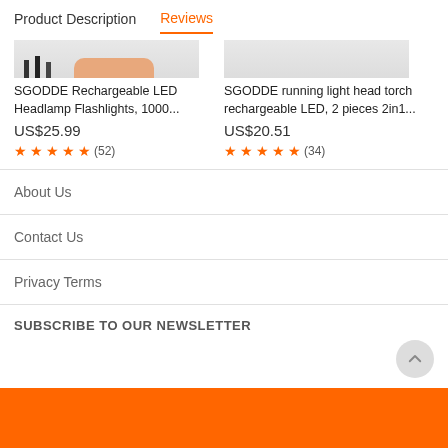Product Description   Reviews
SGODDE Rechargeable LED Headlamp Flashlights, 1000...
US$25.99
★★★★★ (52)
SGODDE running light head torch rechargeable LED, 2 pieces 2in1...
US$20.51
★★★★★ (34)
About Us
Contact Us
Privacy Terms
SUBSCRIBE TO OUR NEWSLETTER